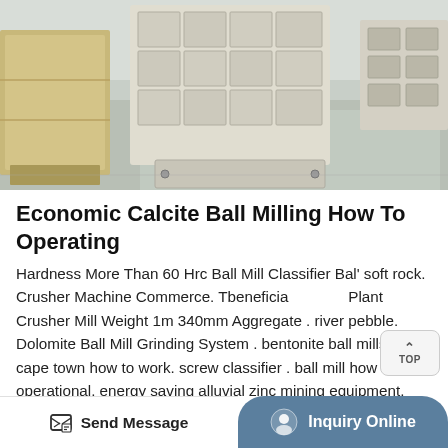[Figure (photo): Industrial facility interior showing heavy equipment parts, white/cream colored metal grid frame structures on a factory floor with shiny concrete surface and more equipment in the background.]
Economic Calcite Ball Milling How To Operating
Hardness More Than 60 Hrc Ball Mill Classifier Ball soft rock. Crusher Machine Commerce. Tbeneficial Plant Crusher Mill Weight 1m 340mm Aggregate . river pebble. Dolomite Ball Mill Grinding System . bentonite ball mills from cape town how to work. screw classifier . ball mill how to operational. energy saving alluvial zinc mining equipment. 9mm Pistol Gold In South Africa. Ball Mill Compressor . granite ball milling detailed workflow in tshwane.
Send Message | Inquiry Online